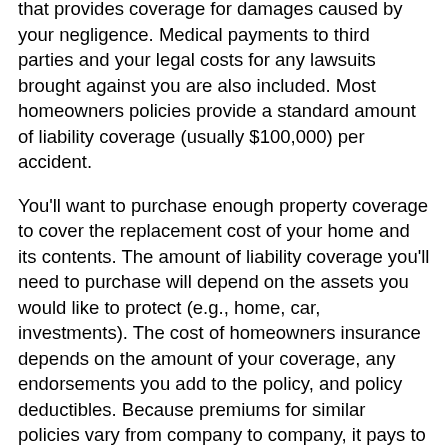that provides coverage for damages caused by your negligence. Medical payments to third parties and your legal costs for any lawsuits brought against you are also included. Most homeowners policies provide a standard amount of liability coverage (usually $100,000) per accident.
You'll want to purchase enough property coverage to cover the replacement cost of your home and its contents. The amount of liability coverage you'll need to purchase will depend on the assets you would like to protect (e.g., home, car, investments). The cost of homeowners insurance depends on the amount of your coverage, any endorsements you add to the policy, and policy deductibles. Because premiums for similar policies vary from company to company, it pays to shop around and compare rates.